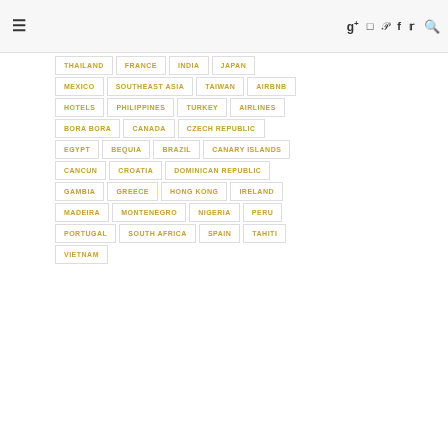≡ g+ instagram pinterest f twitter search
THAILAND
FRANCE
INDIA
JAPAN
MEXICO
SOUTHEAST ASIA
TAIWAN
AIRBNB
HOTELS
PHILIPPINES
TURKEY
AIRLINES
BORA BORA
CANADA
CZECH REPUBLIC
EGYPT
BEQUIA
BRAZIL
CANARY ISLANDS
CANCUN
CROATIA
DOMINICAN REPUBLIC
GAMBIA
GREECE
HONG KONG
IRELAND
MADEIRA
MONTENEGRO
NIGERIA
PERU
PORTUGAL
SOUTH AFRICA
SPAIN
TAHITI
VIETNAM